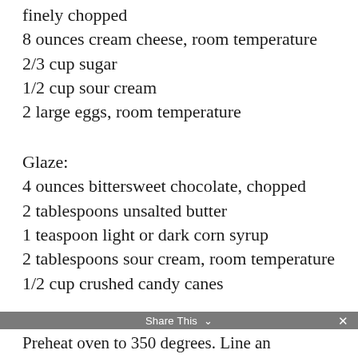finely chopped
8 ounces cream cheese, room temperature
2/3 cup sugar
1/2 cup sour cream
2 large eggs, room temperature
Glaze:
4 ounces bittersweet chocolate, chopped
2 tablespoons unsalted butter
1 teaspoon light or dark corn syrup
2 tablespoons sour cream, room temperature
1/2 cup crushed candy canes
Share This  ✕
Preheat oven to 350 degrees. Line an